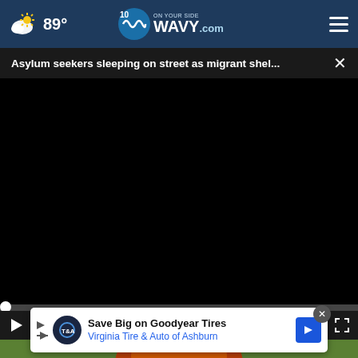89° WAVY.com On Your Side
Asylum seekers sleeping on street as migrant shel...
[Figure (screenshot): Black video player area with playback controls showing 00:00 timecode, play button, mute button, and fullscreen icon on dark control bar]
[Figure (photo): Partially visible photo of colorful red and yellow artistic bowl with flowers in background]
Save Big on Goodyear Tires Virginia Tire & Auto of Ashburn